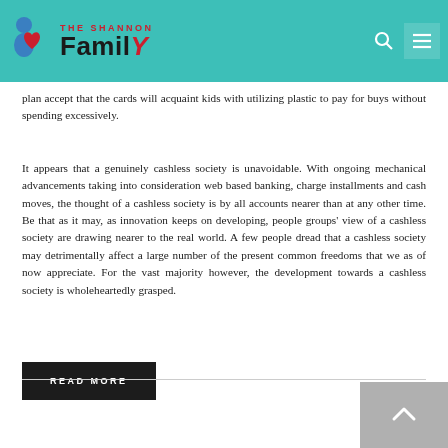THE SHANNON Family
plan accept that the cards will acquaint kids with utilizing plastic to pay for buys without spending excessively.
It appears that a genuinely cashless society is unavoidable. With ongoing mechanical advancements taking into consideration web based banking, charge installments and cash moves, the thought of a cashless society is by all accounts nearer than at any other time. Be that as it may, as innovation keeps on developing, people groups' view of a cashless society are drawing nearer to the real world. A few people dread that a cashless society may detrimentally affect a large number of the present common freedoms that we as of now appreciate. For the vast majority however, the development towards a cashless society is wholeheartedly grasped.
READ MORE